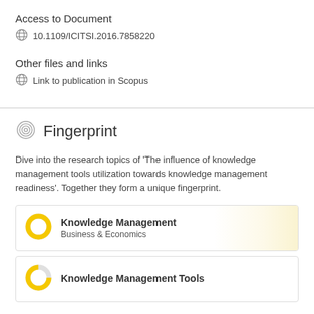Access to Document
10.1109/ICITSI.2016.7858220
Other files and links
Link to publication in Scopus
Fingerprint
Dive into the research topics of 'The influence of knowledge management tools utilization towards knowledge management readiness'. Together they form a unique fingerprint.
Knowledge Management
Business & Economics
Knowledge Management Tools